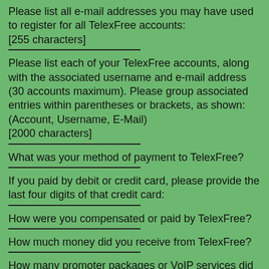Please list all e-mail addresses you may have used to register for all TelexFree accounts:
[255 characters]
Please list each of your TelexFree accounts, along with the associated username and e-mail address (30 accounts maximum). Please group associated entries within parentheses or brackets, as shown: (Account, Username, E-Mail)
[2000 characters]
What was your method of payment to TelexFree?
If you paid by debit or credit card, please provide the last four digits of that credit card:
How were you compensated or paid by TelexFree?
How much money did you receive from TelexFree?
How many promoter packages or VoIP services did